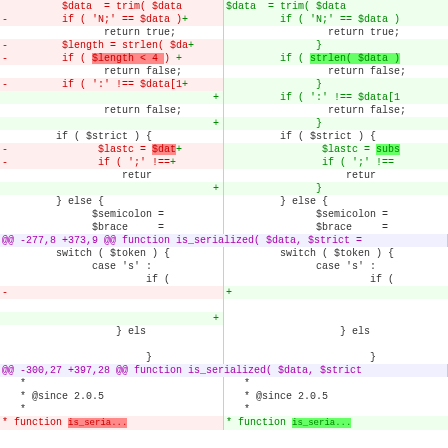[Figure (screenshot): A side-by-side unified diff view of PHP code showing changes to a function is_serialized(). Left column shows removed lines (red, with minus markers), right column shows added lines (green, with plus markers). Highlighted spans show specific token differences. Hunk headers in purple. Code in monospace font.]